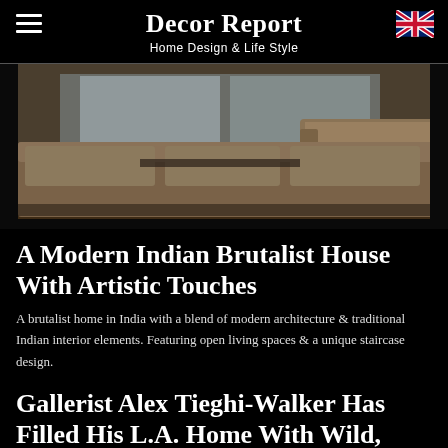Decor Report
Home Design & Life Style
[Figure (photo): Interior photo of a modern living room with low-profile brown/tan sectional sofas on a hardwood floor, concrete walls in the background.]
A Modern Indian Brutalist House With Artistic Touches
A brutalist home in India with a blend of modern architecture & traditional Indian interior elements. Featuring open living spaces & a unique staircase design.
Gallerist Alex Tieghi-Walker Has Filled His L.A. Home With Wild, One-of-a-Kind Objects